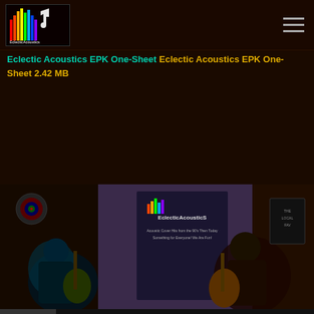Eclectic Acoustics logo and hamburger menu
Eclectic Acoustics EPK One-Sheet Eclectic Acoustics EPK One-Sheet 2.42 MB
[Figure (other): Three social media icons: Facebook (blue), Twitter (blue), Instagram (camera)]
[Figure (photo): Two musicians playing acoustic guitars in a studio with an Eclectic Acoustics banner in the background]